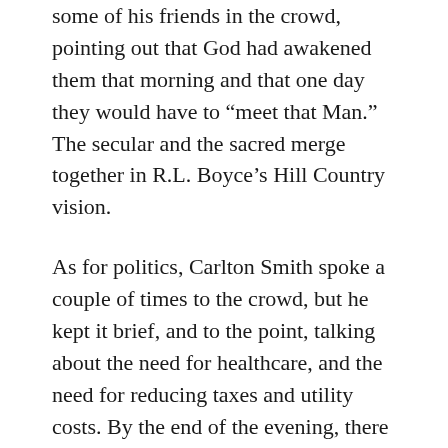some of his friends in the crowd, pointing out that God had awakened them that morning and that one day they would have to “meet that Man.” The secular and the sacred merge together in R.L. Boyce’s Hill Country vision.
As for politics, Carlton Smith spoke a couple of times to the crowd, but he kept it brief, and to the point, talking about the need for healthcare, and the need for reducing taxes and utility costs. By the end of the evening, there was a fair number of people in the park.
Unfortunately, one thing was different from the campaign rallies of old. Traditionally, in addition to the blues or fife and drum music, there would have been a whole hog roasted, with food for everyone. Times have changed, and the campaign only had cookies, chips and bottled waters. Kids enjoyed them well enough, but at evening’s end, I was starving, so I decided to make my way to the